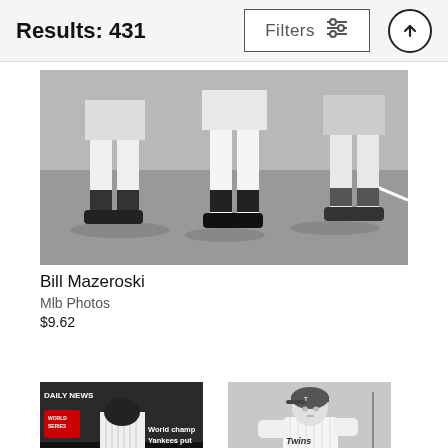Results: 431
[Figure (photo): Black and white photo of baseball players' legs/feet running on a dirt field]
Bill Mazeroski
Mlb Photos
$9.62
[Figure (photo): Daily News front page: World Series cover — World champ Yankees put us all in... 27th]
[Figure (photo): Black and white photo of a Minnesota Twins baseball player in uniform leaning forward]